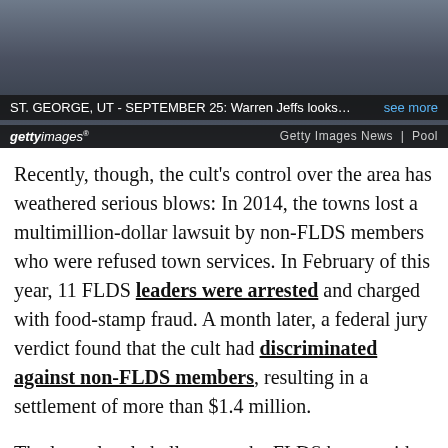[Figure (photo): Photo of Warren Jeffs, a man in a dark suit, blurred background]
ST. GEORGE, UT - SEPTEMBER 25: Warren Jeffs looks… see more
gettyimages Getty Images News | Pool
Recently, though, the cult's control over the area has weathered serious blows: In 2014, the towns lost a multimillion-dollar lawsuit by non-FLDS members who were refused town services. In February of this year, 11 FLDS leaders were arrested and charged with food-stamp fraud. A month later, a federal jury verdict found that the cult had discriminated against non-FLDS members, resulting in a settlement of more than $1.4 million.
The latest legal challenge to the FLDS began with a report to the marshal's office of vandalism on the site of Colorado City's former zoo. The UEP trust owns the property and had leased the land to Prairie Farms, LLC, which planned to use it for cattle. On October 13, 2015,